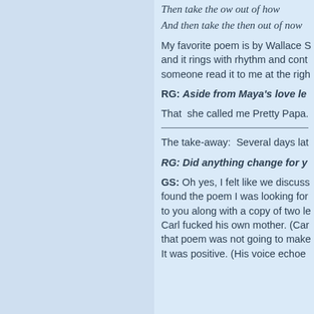Then take the ow out of how
And then take the then out of now
My favorite poem is by Wallace S and it rings with rhythm and cont someone read it to me at the righ
RG: Aside from Maya's love le
That  she called me Pretty Papa.
The take-away:  Several days lat
RG: Did anything change for y
GS: Oh yes, I felt like we discuss found the poem I was looking for to you along with a copy of two le Carl fucked his own mother. (Car that poem was not going to make It was positive. (His voice echoe